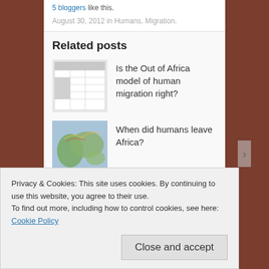5 bloggers like this.
August 30, 2012 in Humans, Migration.
Related posts
Is the Out of Africa model of human migration right?
When did humans leave Africa?
Caring Homo erectus
Privacy & Cookies: This site uses cookies. By continuing to use this website, you agree to their use.
To find out more, including how to control cookies, see here: Cookie Policy
Close and accept